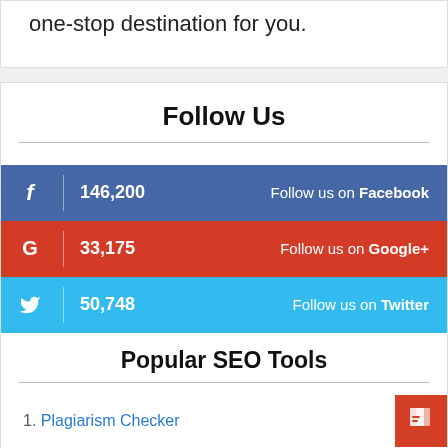one-stop destination for you.
Follow Us
146,200  Follow us on Facebook
33,175  Follow us on Google+
50,748  Follow us on Twitter
Popular SEO Tools
1. Plagiarism Checker
2. Article Spinner / Rewriter